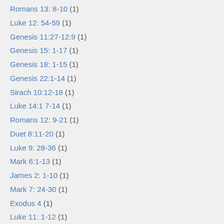Romans 13: 8-10 (1)
Luke 12: 54-59 (1)
Genesis 11:27-12:9 (1)
Genesis 15: 1-17 (1)
Genesis 18: 1-15 (1)
Genesis 22:1-14 (1)
Sirach 10:12-18 (1)
Luke 14:1 7-14 (1)
Romans 12: 9-21 (1)
Duet 8:11-20 (1)
Luke 9: 28-36 (1)
Mark 6:1-13 (1)
James 2: 1-10 (1)
Mark 7: 24-30 (1)
Exodus 4 (1)
Luke 11: 1-12 (1)
Mark 9:38-50 (1)